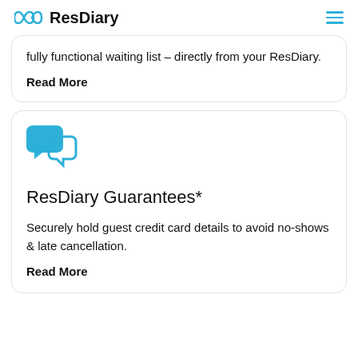ResDiary
fully functional waiting list – directly from your ResDiary.
Read More
[Figure (illustration): Two overlapping speech bubble chat icons in blue]
ResDiary Guarantees*
Securely hold guest credit card details to avoid no-shows & late cancellation.
Read More